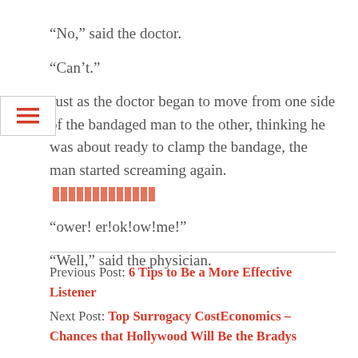“No,” said the doctor.
“Can’t.”
Just as the doctor began to move from one side of the bandaged man to the other, thinking he was about ready to clamp the bandage, the man started screaming again. [link]
“ower! er!ok!ow!me!”
“Well,” said the physician.
Previous Post: 6 Tips to Be a More Effective Listener
Next Post: Top Surrogacy CostEconomics – Chances that Hollywood Will Be the Bradys